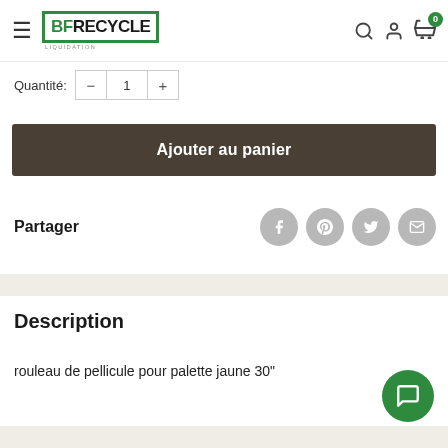BF RECYCLE - Navigation header with logo, search, account, and cart icons
Quantité: 1
Ajouter au panier
Partager
Description
rouleau de pellicule pour palette jaune 30"